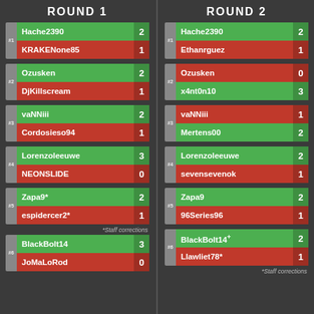ROUND 1
ROUND 2
| Seed | Player | Score |
| --- | --- | --- |
| #1 | Hache2390 | 2 |
| #1 | KRAKENone85 | 1 |
| #2 | Ozusken | 2 |
| #2 | DjKillscream | 1 |
| #3 | vaNNiii | 2 |
| #3 | Cordosieso94 | 1 |
| #4 | Lorenzoleeuwe | 3 |
| #4 | NEONSLIDE | 0 |
| #5 | Zapa9* | 2 |
| #5 | espidercer2* | 1 |
| #6 | BlackBolt14 | 3 |
| #6 | JoMaLoRod | 0 |
*Staff corrections
| Seed | Player | Score |
| --- | --- | --- |
| #1 | Hache2390 | 2 |
| #1 | Ethanrguez | 1 |
| #2 | Ozusken | 0 |
| #2 | x4nt0n10 | 3 |
| #3 | vaNNiii | 1 |
| #3 | Mertens00 | 2 |
| #4 | Lorenzoleeuwe | 2 |
| #4 | sevensevenok | 1 |
| #5 | Zapa9 | 2 |
| #5 | 96Series96 | 1 |
| #6 | BlackBolt14+ | 2 |
| #6 | Llawliet78* | 1 |
*Staff corrections